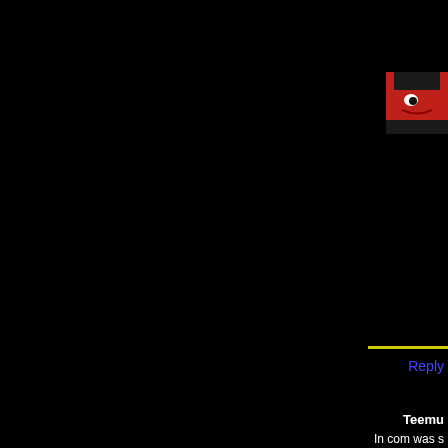[Figure (illustration): Partial avatar image showing a cartoon character with red and black coloring, visible in the top-right corner of the page]
Reply
Teemu
In com was s